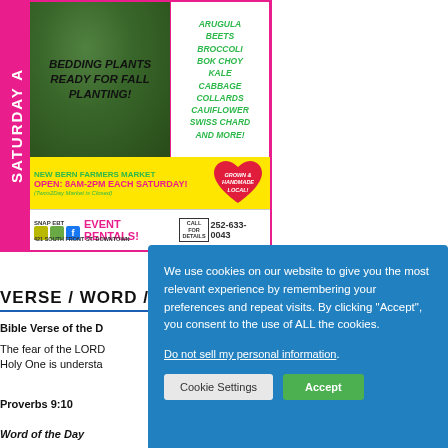[Figure (infographic): New Bern Farmers Market advertisement with pink border, photo of greens, list of vegetables (arugula, beets, broccoli, bok choy, kale, cabbage, collards, cauliflower, swiss chard and more), bedding plants text, yellow banner with market hours, grown & handmade local heart, SNAP EBT icons, event rentals phone 252-633-0043, address 421 South Front St. Downtown]
VERSE / WORD / AR
Bible Verse of the D
The fear of the LORD Holy One is understa
Proverbs 9:10
Word of the Day
[Figure (screenshot): Cookie consent dialog box with blue background. Text: 'We use cookies on our website to give you the most relevant experience by remembering your preferences and repeat visits. By clicking "Accept", you consent to the use of ALL the cookies.' Link: 'Do not sell my personal information.' Buttons: 'Cookie Settings' and 'Accept'.]